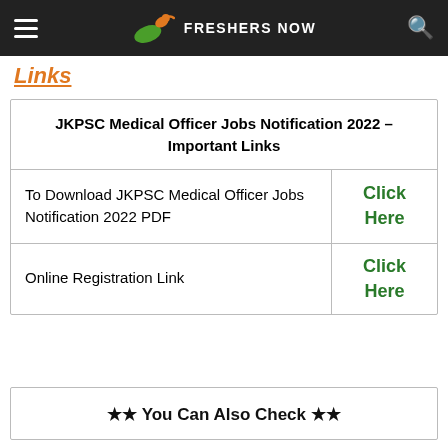FRESHERS NOW
Links
| JKPSC Medical Officer Jobs Notification 2022 – Important Links |  |
| --- | --- |
| To Download JKPSC Medical Officer Jobs Notification 2022 PDF | Click Here |
| Online Registration Link | Click Here |
★★ You Can Also Check ★★